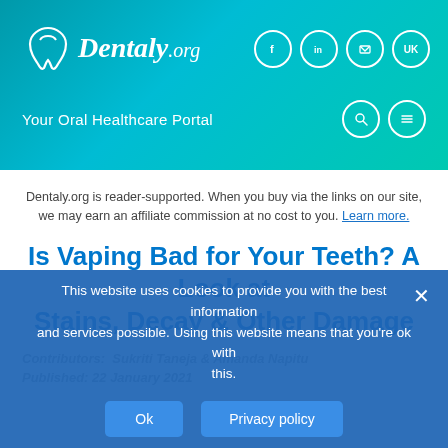[Figure (logo): Dentaly.org logo with tooth icon in white on teal gradient background, with social media icons (Facebook, LinkedIn, email, UK) on the right]
Your Oral Healthcare Portal
Dentaly.org is reader-supported. When you buy via the links on our site, we may earn an affiliate commission at no cost to you. Learn more.
Is Vaping Bad for Your Teeth? A Look at Stains, Decay & Other Damage
Contributors:  Sukriti Taneja & Amanda Napitu
Published: 22 January 2021
This website uses cookies to provide you with the best information and services possible. Using this website means that you're ok with this.